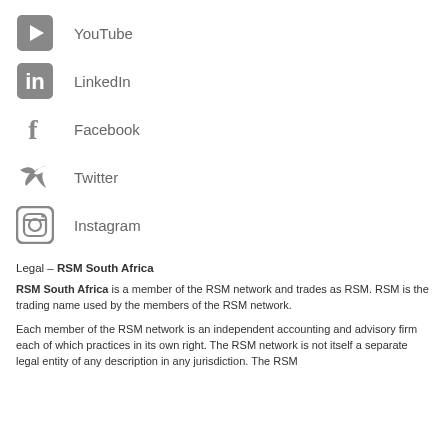YouTube
LinkedIn
Facebook
Twitter
Instagram
Legal – RSM South Africa
RSM South Africa is a member of the RSM network and trades as RSM. RSM is the trading name used by the members of the RSM network.
Each member of the RSM network is an independent accounting and advisory firm each of which practices in its own right. The RSM network is not itself a separate legal entity of any description in any jurisdiction. The RSM